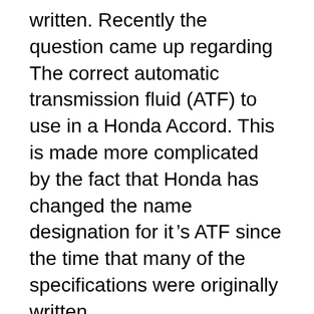written. Recently the question came up regarding The correct automatic transmission fluid (ATF) to use in a Honda Accord. This is made more complicated by the fact that Honda has changed the name designation for it's ATF since the time that many of the specifications were originally written.
See how to correctly check the transmission fluid level in a 1998 Honda Accord LX 3.0L V6 Sedan (4 Door). The engine should be running when you check the transmission fluid dipstick on a 1998 Honda Accord LX 3.0L V6 Sedan (4 Door) Recently the question came up regarding The correct automatic